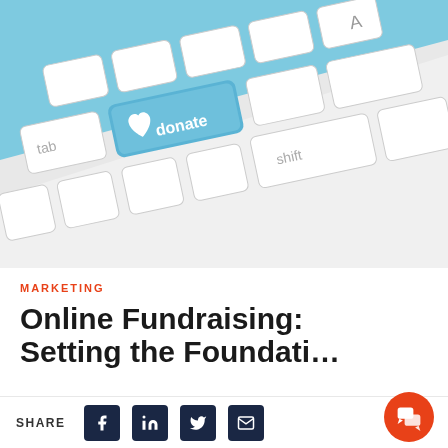[Figure (photo): Close-up photograph of a white keyboard with a blue 'donate' key featuring a white heart icon, alongside standard keys including tab, shift, and A]
MARKETING
Online Fundraising: Setting the Foundati…
SHARE [Facebook] [LinkedIn] [Twitter] [Email] [Chat]